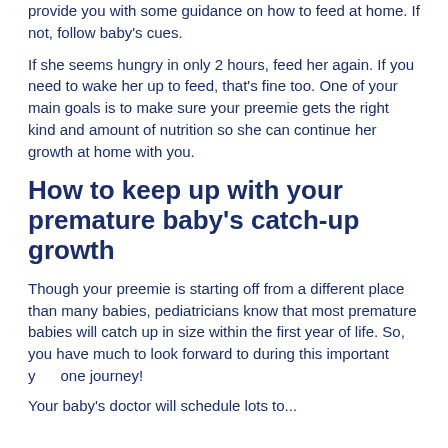provide you with some guidance on how to feed at home. If not, follow baby's cues.
If she seems hungry in only 2 hours, feed her again. If you need to wake her up to feed, that's fine too. One of your main goals is to make sure your preemie gets the right kind and amount of nutrition so she can continue her growth at home with you.
How to keep up with your premature baby's catch-up growth
Though your preemie is starting off from a different place than many babies, pediatricians know that most premature babies will catch up in size within the first year of life. So, you have much to look forward to during this important your one journey!
Your baby's doctor will schedule lots to...